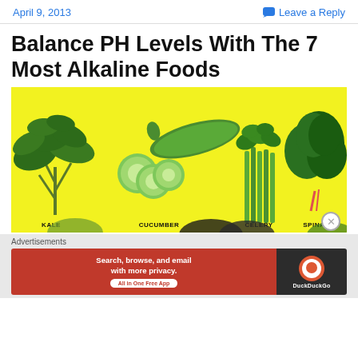April 9, 2013 | Leave a Reply
Balance PH Levels With The 7 Most Alkaline Foods
[Figure (infographic): Yellow background infographic showing alkaline vegetables: Kale (leafy green), Cucumber (whole and sliced), Celery (stalks with leaves), Spinach (leaves), and bottom row showing avocado and other vegetables. Labels: KALE, CUCUMBER, CELERY, SPINACH.]
Advertisements
[Figure (screenshot): DuckDuckGo advertisement banner with red background on left showing 'Search, browse, and email with more privacy. All in One Free App' and DuckDuckGo logo on dark background on the right.]